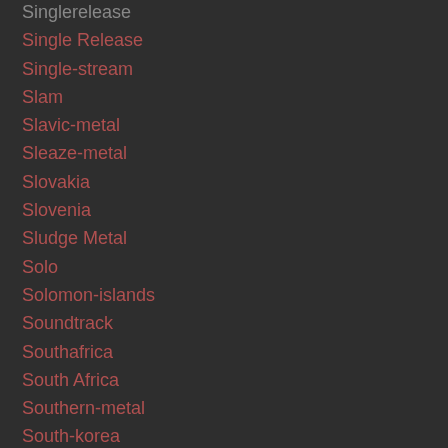Singlerelease
Single Release
Single-stream
Slam
Slavic-metal
Sleaze-metal
Slovakia
Slovenia
Sludge Metal
Solo
Solomon-islands
Soundtrack
Southafrica
South Africa
Southern-metal
South-korea
Spain
Speed-metal
Split-album
Split-up
Sports